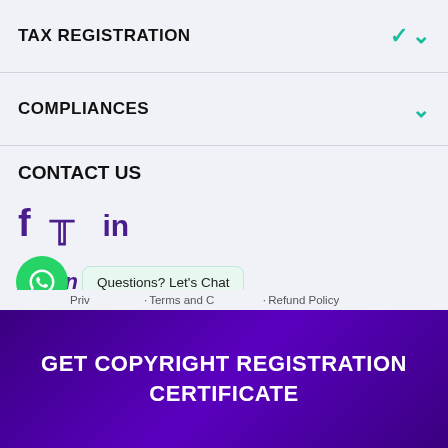TAX REGISTRATION
COMPLIANCES
CONTACT US
[Figure (infographic): Social media icons: Facebook (f), Twitter (bird), LinkedIn (in) in dark purple]
Login
[Figure (infographic): WhatsApp chat bubble icon (green circle with WhatsApp logo) and a chat tooltip saying 'Questions? Let's Chat']
Privacy Policy  Terms and Conditions  Refund Policy
GET COPYRIGHT REGISTRATION CERTIFICATE